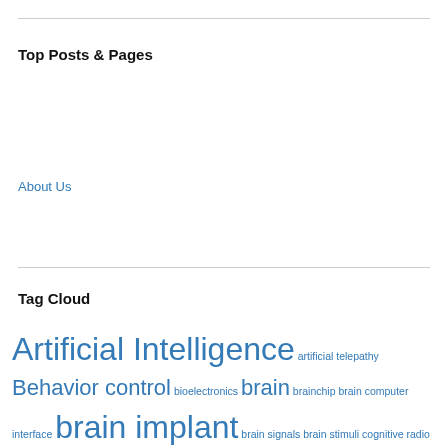Top Posts & Pages
About Us
Tag Cloud
Artificial Intelligence artificial telepathy Behavior control bioelectronics brain brainchip brain computer interface brain implant brain signals brain stimuli cognitive radio computer control cybernetics cyborg daniel estulin direct-energy weapons directed energy weapons doctor electromagnetic weapons electronic weapons ethical principle eu EUCACH frequency weapons Fundamental Rights genetic weapons geophysical weapons